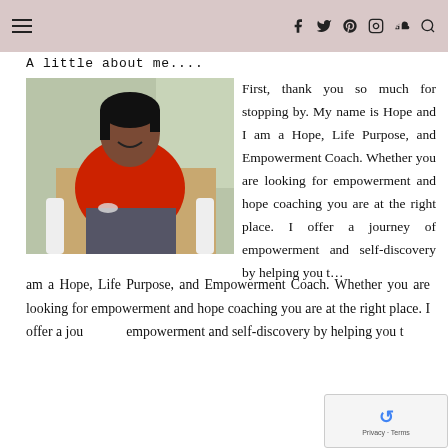Navigation bar with hamburger menu and social icons (Facebook, Twitter, Pinterest, Instagram, SoundCloud, Search)
A little about me....
[Figure (photo): Woman in red top sitting in a chair, smiling, indoor setting with green walls]
First, thank you so much for stopping by. My name is Hope and I am a Hope, Life Purpose, and Empowerment Coach. Whether you are looking for empowerment and hope coaching you are at the right place. I offer a journey of empowerment and self-discovery by helping you t…